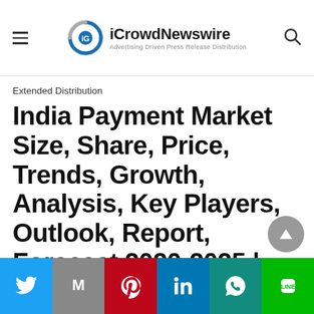iCrowdNewswire — Advertising Driven Press Release Distribution
Extended Distribution
India Payment Market Size, Share, Price, Trends, Growth, Analysis, Key Players, Outlook, Report, Forecast 2020-2025 | ExpertMarketResearch.com
[Figure (other): Social sharing buttons bar: Twitter (blue), Gmail (grey), Pinterest (red), LinkedIn (blue), WhatsApp (teal), LINE (green)]